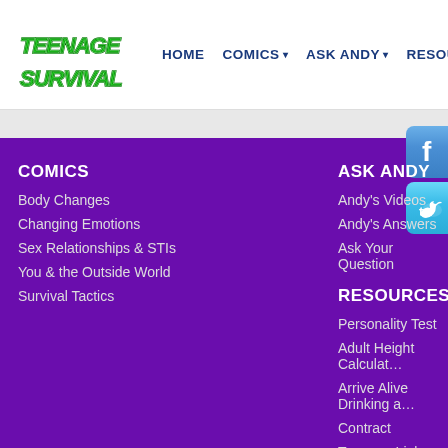[Figure (logo): Teenage Survival logo in green graffiti-style text]
HOME  COMICS ▾  ASK ANDY ▾  RESOURCES
COMICS
Body Changes
Changing Emotions
Sex Relationships & STIs
You & the Outside World
Survival Tactics
ASK ANDY
Andy's Videos
Andy's Answers
Ask Your Question
RESOURCES
Personality Test
Adult Height Calculat…
Arrive Alive Drinking a…
Contract
Teenage Links